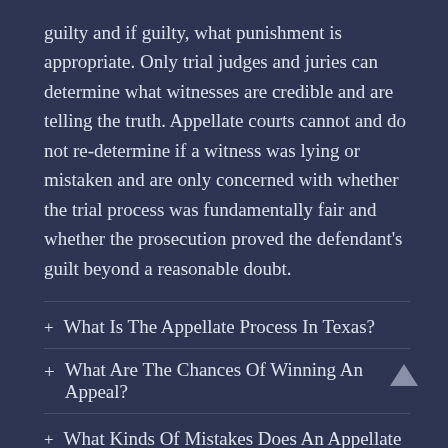guilty and if guilty, what punishment is appropriate. Only trial judges and juries can determine what witnesses are credible and are telling the truth. Appellate courts cannot and do not re-determine if a witness was lying or mistaken and are only concerned with whether the trial process was fundamentally fair and whether the prosecution proved the defendant's guilt beyond a reasonable doubt.
+ What Is The Appellate Process In Texas?
+ What Are The Chances Of Winning An Appeal?
+ What Kinds Of Mistakes Does An Appellate